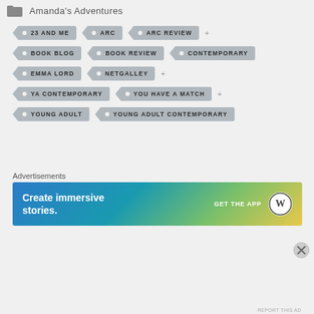Amanda's Adventures
23 AND ME
ARC
ARC REVIEW
BOOK BLOG
BOOK REVIEW
CONTEMPORARY
EMMA LORD
NETGALLEY
YA CONTEMPORARY
YOU HAVE A MATCH
YOUNG ADULT
YOUNG ADULT CONTEMPORARY
Advertisements
[Figure (infographic): Advertisement banner: Create immersive stories. GET THE APP with WordPress logo. Blue-green-yellow gradient background.]